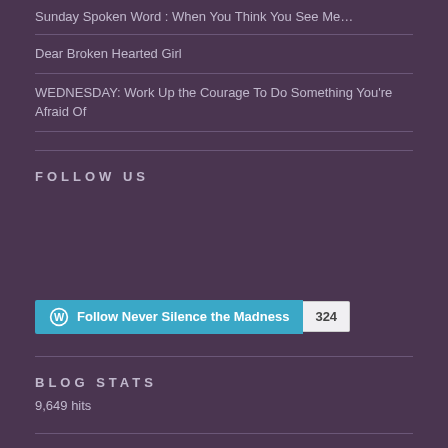Sunday Spoken Word : When You Think You See Me…
Dear Broken Hearted Girl
WEDNESDAY: Work Up the Courage To Do Something You're Afraid Of
FOLLOW US
[Figure (other): Empty social media follow widget area]
Follow Never Silence the Madness 324
BLOG STATS
9,649 hits
LOOKING FOR SOMETHING ?
[Figure (other): Search input box]